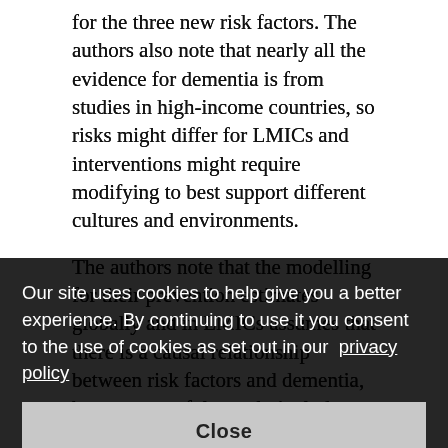for the three new risk factors. The authors also note that nearly all the evidence for dementia is from studies in high-income countries, so risks might differ for LMICs and interventions might require modifying to best support different cultures and environments.
The authors note that the modelling for their prevention estimates globally and in LMICs assumes that there is a causal relationship between risk factors and dementia, but were careful to only include risk factors with strong evidence for a causal link.
[partially obscured by cookie banner] ...University of ...ies, ...even ...han ...national policies ...ndary ...education for all and ...making policies that have the potential to large reductions in dementia and should be prominent. We also need more dementia research coming from low- and middle-income countries, so we can better
Our site uses cookies to help give you a better experience. By continuing to use it you consent to the use of cookies as set out in our privacy policy